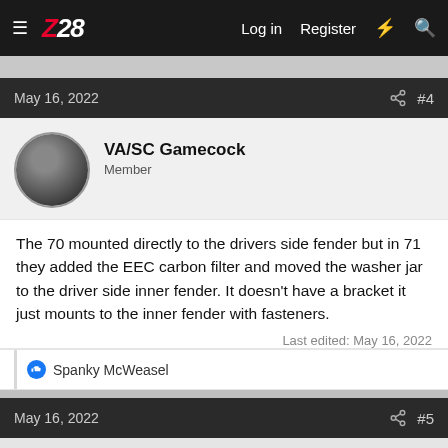Z28 — Log in  Register
May 16, 2022  #4
VA/SC Gamecock
Member
The 70 mounted directly to the drivers side fender but in 71 they added the EEC carbon filter and moved the washer jar to the driver side inner fender. It doesn't have a bracket it just mounts to the inner fender with fasteners.
Last edited: May 16, 2022
Spanky McWeasel
May 16, 2022  #5